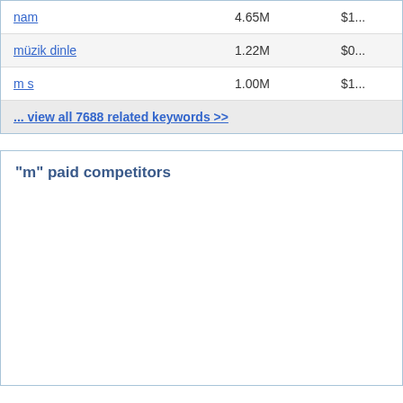| keyword | volume | cpc |
| --- | --- | --- |
| nam | 4.65M | $1... |
| müzik dinle | 1.22M | $0... |
| m s | 1.00M | $1... |
... view all 7688 related keywords >>
"m" paid competitors